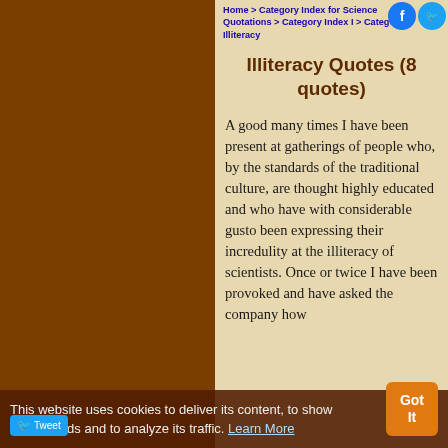Home > Category Index for Science Quotations > Category Index I > Category: Illiteracy
Illiteracy Quotes (8 quotes)
A good many times I have been present at gatherings of people who, by the standards of the traditional culture, are thought highly educated and who have with considerable gusto been expressing their incredulity at the illiteracy of scientists. Once or twice I have been provoked and have asked the company how
This website uses cookies to deliver its content, to show relevant ads and to analyze its traffic. Learn More
Got It